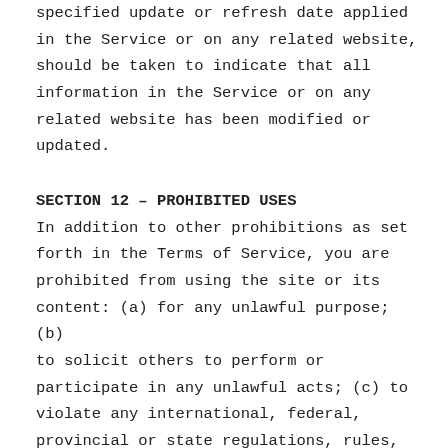specified update or refresh date applied in the Service or on any related website, should be taken to indicate that all information in the Service or on any related website has been modified or updated.
SECTION 12 – PROHIBITED USES
In addition to other prohibitions as set forth in the Terms of Service, you are prohibited from using the site or its content: (a) for any unlawful purpose; (b) to solicit others to perform or participate in any unlawful acts; (c) to violate any international, federal, provincial or state regulations, rules, laws, or legal ordinances; (d) to infringe